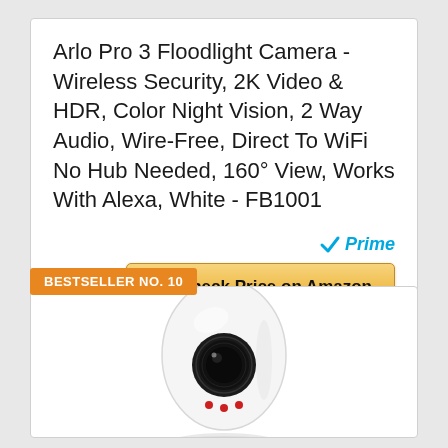Arlo Pro 3 Floodlight Camera - Wireless Security, 2K Video & HDR, Color Night Vision, 2 Way Audio, Wire-Free, Direct To WiFi No Hub Needed, 160° View, Works With Alexa, White - FB1001
[Figure (logo): Amazon Prime checkmark and Prime logo badge]
Check Price on Amazon
BESTSELLER NO. 10
[Figure (photo): Arlo security camera - white egg-shaped wireless security camera with black lens, shown from the front]